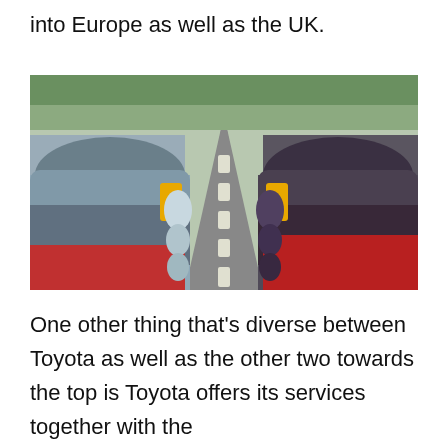into Europe as well as the UK.
[Figure (photo): Rows of parked cars in a lot, viewed from a low angle down the centre lane. Cars on the left appear silver/grey, cars on the right appear red/dark. Yellow tags are attached to the side mirrors. The perspective creates a strong vanishing point in the centre.]
One other thing that’s diverse between Toyota as well as the other two towards the top is Toyota offers its services together with the